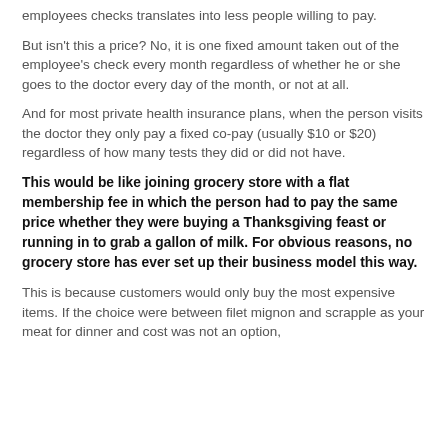employees checks translates into less people willing to pay.
But isn't this a price? No, it is one fixed amount taken out of the employee's check every month regardless of whether he or she goes to the doctor every day of the month, or not at all.
And for most private health insurance plans, when the person visits the doctor they only pay a fixed co-pay (usually $10 or $20) regardless of how many tests they did or did not have.
This would be like joining grocery store with a flat membership fee in which the person had to pay the same price whether they were buying a Thanksgiving feast or running in to grab a gallon of milk. For obvious reasons, no grocery store has ever set up their business model this way.
This is because customers would only buy the most expensive items. If the choice were between filet mignon and scrapple as your meat for dinner and cost was not an option,